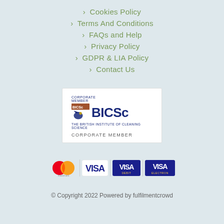> Cookies Policy
> Terms And Conditions
> FAQs and Help
> Privacy Policy
> GDPR & LIA Policy
> Contact Us
[Figure (logo): BICSc British Institute of Cleaning Science Corporate Member logo]
[Figure (logo): Payment logos: Mastercard, Visa, Visa Debit, Visa Electron]
© Copyright 2022 Powered by fulfilmentcrowd